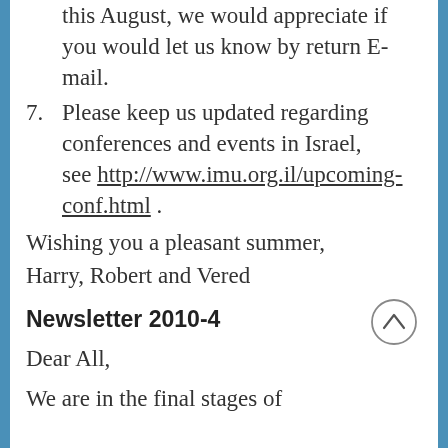this August, we would appreciate if you would let us know by return E-mail.
7. Please keep us updated regarding conferences and events in Israel, see http://www.imu.org.il/upcoming-conf.html .
Wishing you a pleasant summer,
Harry, Robert and Vered
Newsletter 2010-4
Dear All,
We are in the final stages of